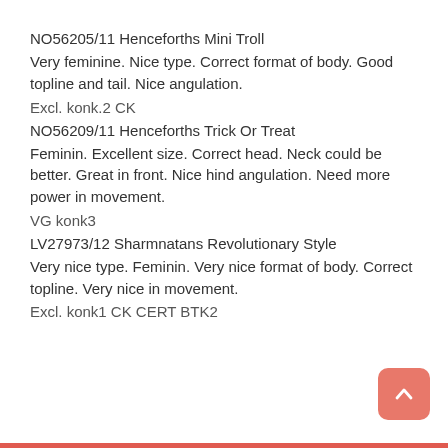NO56205/11 Henceforths Mini Troll
Very feminine. Nice type. Correct format of body. Good topline and tail. Nice angulation.
Excl. konk.2 CK
NO56209/11 Henceforths Trick Or Treat
Feminin. Excellent size. Correct head. Neck could be better. Great in front. Nice hind angulation. Need more power in movement.
VG konk3
LV27973/12 Sharmnatans Revolutionary Style
Very nice type. Feminin. Very nice format of body. Correct topline. Very nice in movement.
Excl. konk1 CK CERT BTK2